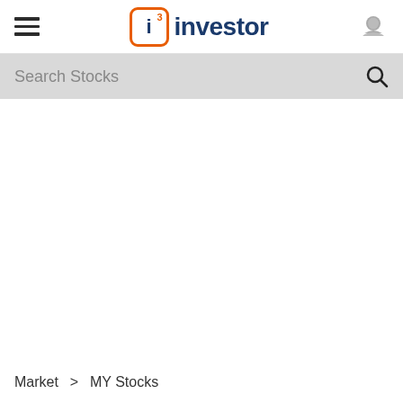i3 investor
Search Stocks
Market > MY Stocks